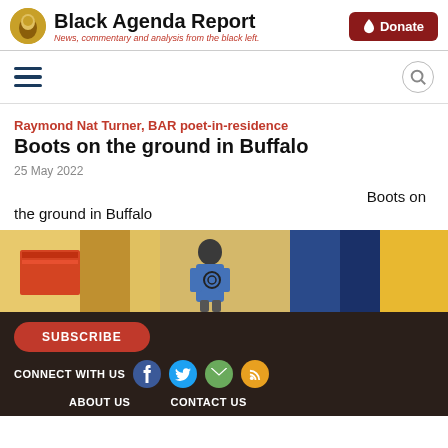Black Agenda Report — News, commentary and analysis from the black left.
[Figure (logo): Black Agenda Report logo with circular icon and site name]
Raymond Nat Turner, BAR poet-in-residence
Boots on the ground in Buffalo
25 May 2022
Boots on the ground in Buffalo
[Figure (photo): Partial photo of a person with flags in background]
SUBSCRIBE | CONNECT WITH US | ABOUT US | CONTACT US